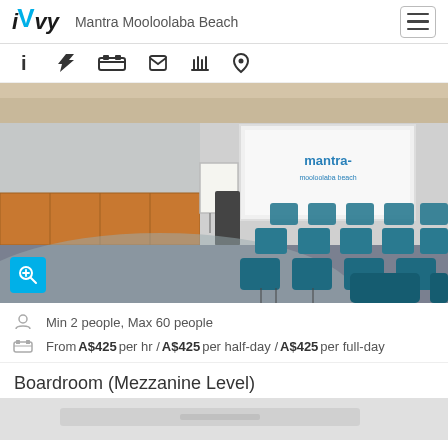iVvy — Mantra Mooloolaba Beach
[Figure (photo): Conference room at Mantra Mooloolaba Beach with teal chairs arranged in theatre-style rows facing a projection screen displaying the Mantra logo, with a whiteboard/easel at the front left and wooden storage units along the left wall.]
Min 2 people, Max 60 people
From A$425 per hr / A$425 per half-day / A$425 per full-day
Boardroom (Mezzanine Level)
[Figure (photo): Partial view of a boardroom table at Mantra Mooloolaba Beach.]